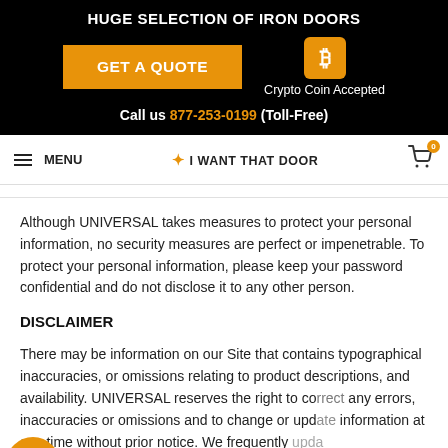HUGE SELECTION OF IRON DOORS
GET A QUOTE
Crypto Coin Accepted
Call us 877-253-0199 (Toll-Free)
MENU | I WANT THAT DOOR
Although UNIVERSAL takes measures to protect your personal information, no security measures are perfect or impenetrable. To protect your personal information, please keep your password confidential and do not disclose it to any other person.
DISCLAIMER
There may be information on our Site that contains typographical inaccuracies, or omissions relating to product descriptions, and availability. UNIVERSAL reserves the right to correct any errors, inaccuracies or omissions and to change or update information at any time without prior notice. We frequently update our products and inventory and UNIVERSAL does not guarantee the